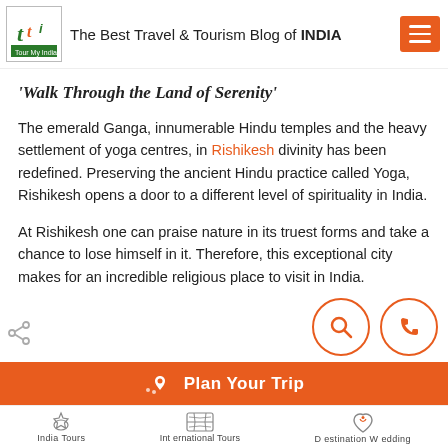The Best Travel & Tourism Blog of INDIA
'Walk Through the Land of Serenity'
The emerald Ganga, innumerable Hindu temples and the heavy settlement of yoga centres, in Rishikesh divinity has been redefined. Preserving the ancient Hindu practice called Yoga, Rishikesh opens a door to a different level of spirituality in India.
At Rishikesh one can praise nature in its truest forms and take a chance to lose himself in it. Therefore, this exceptional city makes for an incredible religious place to visit in India.
Plan Your Trip | India Tours | International Tours | Destination Wedding